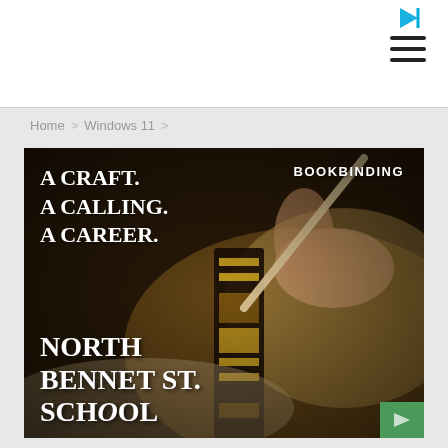Home > Windows 11 >
[Figure (photo): Advertisement for North Bennet St. School bookbinding program. Dark background showing hands using a tool on an ornately decorated book spine with gold lettering. Text overlay reads: 'A CRAFT. A CALLING. A CAREER.' and 'BOOKBINDING' and 'NORTH BENNET ST. SCHOOL']